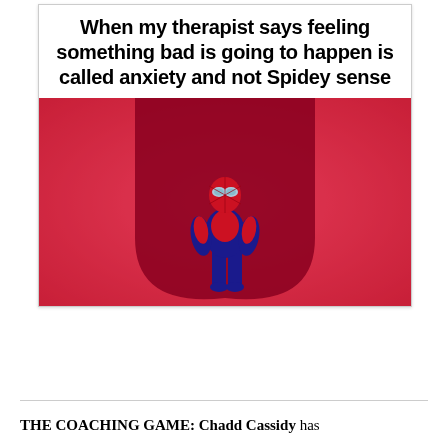When my therapist says feeling something bad is going to happen is called anxiety and not Spidey sense
[Figure (illustration): Animated Spider-Man character standing in front of a large red/pink shadowy doorway or arch shape, with a dotted/halftone pink background. The figure is wearing the classic blue and red Spider-Man suit, facing forward with a dejected or contemplative pose.]
THE COACHING GAME: Chadd Cassidy has